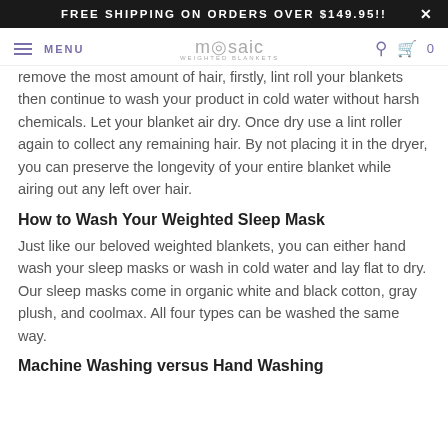FREE SHIPPING ON ORDERS OVER $149.95!!
mosaic WEIGHTED BLANKETS | MENU | Search | Cart 0
remove the most amount of hair, firstly, lint roll your blankets then continue to wash your product in cold water without harsh chemicals. Let your blanket air dry. Once dry use a lint roller again to collect any remaining hair. By not placing it in the dryer, you can preserve the longevity of your entire blanket while airing out any left over hair.
How to Wash Your Weighted Sleep Mask
Just like our beloved weighted blankets, you can either hand wash your sleep masks or wash in cold water and lay flat to dry. Our sleep masks come in organic white and black cotton, gray plush, and coolmax. All four types can be washed the same way.
Machine Washing versus Hand Washing